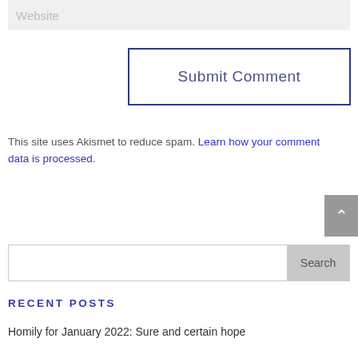Website
Submit Comment
This site uses Akismet to reduce spam. Learn how your comment data is processed.
Search
RECENT POSTS
Homily for January 2022: Sure and certain hope